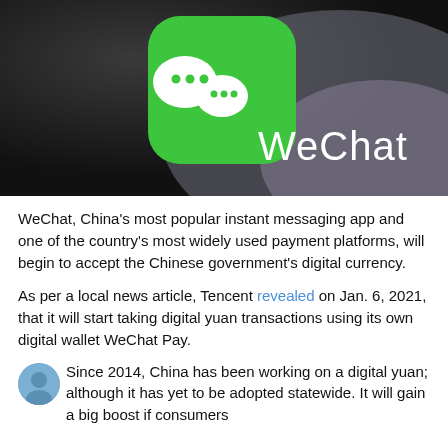[Figure (photo): Close-up photo of a smartphone screen showing the WeChat app icon (green rounded square with two white speech bubble faces) and the text 'WeChat' displayed on the screen.]
WeChat, China's most popular instant messaging app and one of the country's most widely used payment platforms, will begin to accept the Chinese government's digital currency.
As per a local news article, Tencent revealed on Jan. 6, 2021, that it will start taking digital yuan transactions using its own digital wallet WeChat Pay.
Since 2014, China has been working on a digital yuan; although it has yet to be adopted statewide. It will gain a big boost if consumers